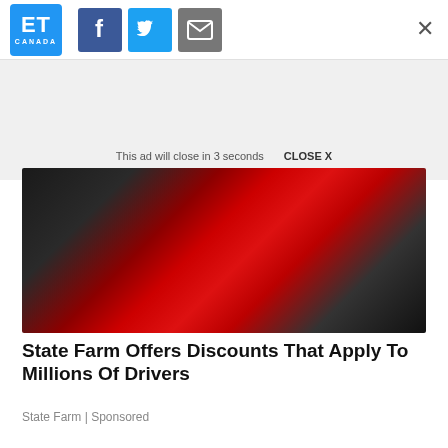ET Canada | Social share icons (Facebook, Twitter, Email) | Close X
[Figure (screenshot): Ad banner area with light grey background]
This ad will close in 3 seconds   CLOSE X
[Figure (photo): Person in red sweater driving a car, seen from behind, hands on steering wheel]
State Farm Offers Discounts That Apply To Millions Of Drivers
State Farm | Sponsored